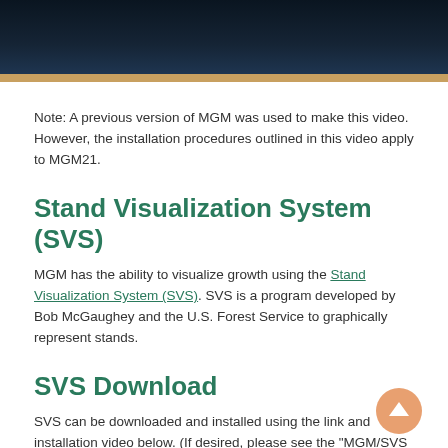[Figure (photo): Dark blue/navy image banner at top of page with a gold/yellow horizontal bar at the bottom edge]
Note: A previous version of MGM was used to make this video. However, the installation procedures outlined in this video apply to MGM21.
Stand Visualization System (SVS)
MGM has the ability to visualize growth using the Stand Visualization System (SVS). SVS is a program developed by Bob McGaughey and the U.S. Forest Service to graphically represent stands.
SVS Download
SVS can be downloaded and installed using the link and installation video below. (If desired, please see the "MGM/SVS Installation